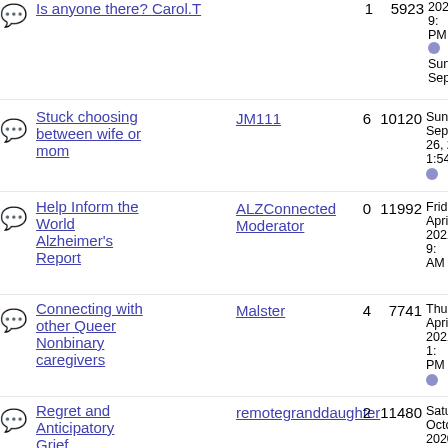| Topic | Author | Replies | Views | Last Post |
| --- | --- | --- | --- | --- |
| Is anyone there? Carol.T | Carol.T | 1 | 5923 | 2021 9:... PM Sunday September... |
| Stuck choosing between wife or mom | JM111 | 6 | 10120 | Sunday September 26, 20... 1:54 A... |
| Help Inform the World Alzheimer's Report | ALZConnected Moderator | 0 | 11992 | Friday April 2021 9:... AM ... |
| Connecting with other Queer Nonbinary caregivers | Malster | 4 | 7741 | Thursday April 2021 1:... PM ... |
| Regret and Anticipatory Grief | remotegranddaughter | 2 | 11480 | Saturday October 2020 5:... PM ... |
| When your same sex spouse has Alzheimer's | AlenaT | 7 | 15394 | Wednesday September 23, 20... 7:30 P... |